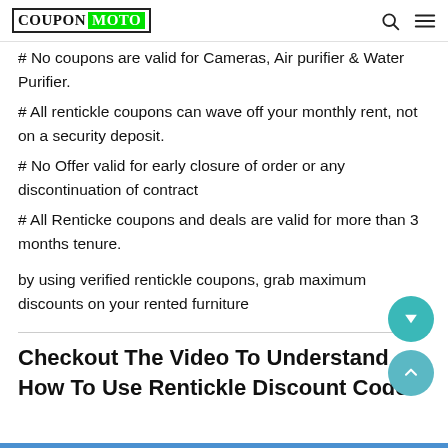COUPON MOTO
# No coupons are valid for Cameras, Air purifier & Water Purifier.
# All rentickle coupons can wave off your monthly rent, not on a security deposit.
# No Offer valid for early closure of order or any discontinuation of contract
# All Renticke coupons and deals are valid for more than 3 months tenure.
by using verified rentickle coupons, grab maximum discounts on your rented furniture
Checkout The Video To Understand How To Use Rentickle Discount Code?